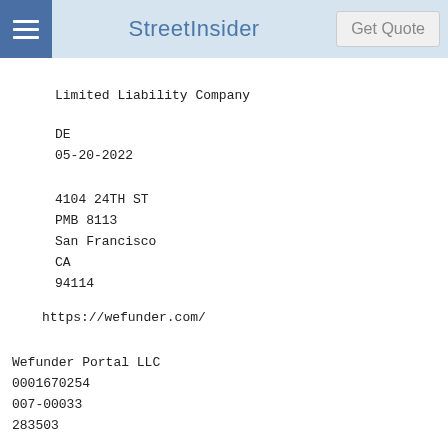StreetInsider | Get Quote
Limited Liability Company
DE
05-20-2022
4104 24TH ST
PMB 8113
San Francisco
CA
94114
https://wefunder.com/
Wefunder Portal LLC
0001670254
007-00033
283503
7.5% of the offering amount upon a successful fundraise, and
No